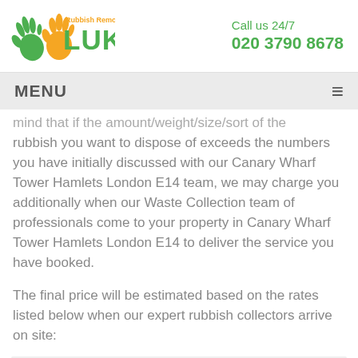[Figure (logo): Luke Rubbish Removals logo with green and orange hand icons and green text 'LUKE']
Call us 24/7
020 3790 8678
MENU
mind that if the amount/weight/size/sort of the rubbish you want to dispose of exceeds the numbers you have initially discussed with our Canary Wharf Tower Hamlets London E14 team, we may charge you additionally when our Waste Collection team of professionals come to your property in Canary Wharf Tower Hamlets London E14 to deliver the service you have booked.
The final price will be estimated based on the rates listed below when our expert rubbish collectors arrive on site: